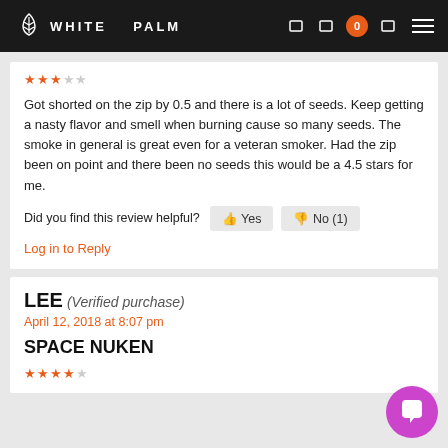WHITE PALM
Got shorted on the zip by 0.5 and there is a lot of seeds. Keep getting a nasty flavor and smell when burning cause so many seeds. The smoke in general is great even for a veteran smoker. Had the zip been on point and there been no seeds this would be a 4.5 stars for me.
Did you find this review helpful? Yes  No (1)
Log in to Reply
LEE (Verified purchase)
April 12, 2018 at 8:07 pm
SPACE NUKEN